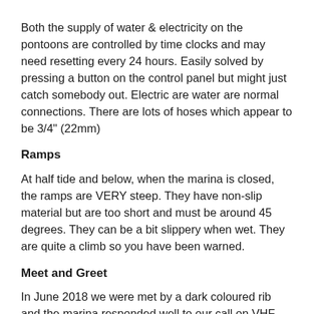Both the supply of water & electricity on the pontoons are controlled by time clocks and may need resetting every 24 hours. Easily solved by pressing a button on the control panel but might just catch somebody out. Electric are water are normal connections. There are lots of hoses which appear to be 3/4" (22mm)
Ramps
At half tide and below, when the marina is closed, the ramps are VERY steep. They have non-slip material but are too short and must be around 45 degrees. They can be a bit slippery when wet. They are quite a climb so you have been warned.
Meet and Greet
In June 2018 we were met by a dark coloured rib and the marina responded well to our call on VHF channel 9. Before our visit, the marina office was very efficient and answered